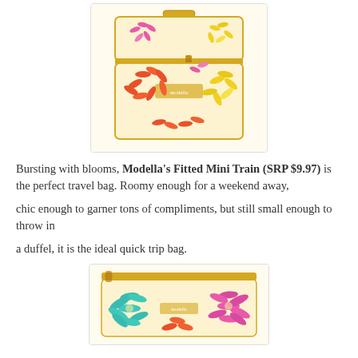[Figure (photo): A colorful floral-patterned train case / mini travel bag with gold zipper and handle, featuring pink, orange, red, and yellow petal burst pattern on cream background.]
Bursting with blooms, Modella's Fitted Mini Train (SRP $9.97) is the perfect travel bag. Roomy enough for a weekend away,
chic enough to garner tons of compliments, but still small enough to throw in
a duffel, it is the ideal quick trip bag.
[Figure (photo): A flat cosmetic pouch/clutch with colorful floral petal burst pattern in teal, pink, orange, and yellow on cream background, with gold zipper.]